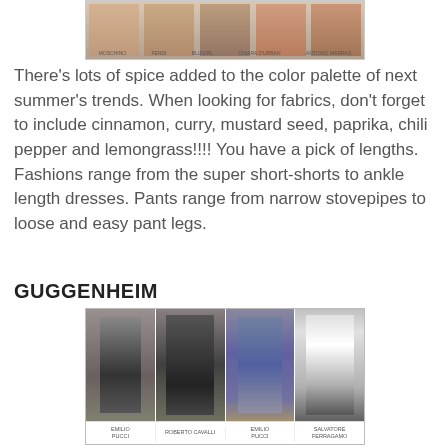[Figure (photo): Fashion runway photo collage showing models in colorful summer outfits, with brand labels at bottom: MOSCHINO, FENDI, BLUGIRL, CHIARA D URBAN, ANTONIO MARRAS]
There's lots of spice added to the color palette of next summer's trends. When looking for fabrics, don't forget to include cinnamon, curry, mustard seed, paprika, chili pepper and lemongrass!!!! You have a pick of lengths. Fashions range from the super short-shorts to ankle length dresses. Pants range from narrow stovepipes to loose and easy pant legs.
GUGGENHEIM
[Figure (photo): Fashion runway photo collage showing four models in black outfits and one in white/black, with brand labels: EMILIO PUCCI, ROBERTO CAVALLI, EMILIO PUCCI, SALVATORE FERRAGAMO]